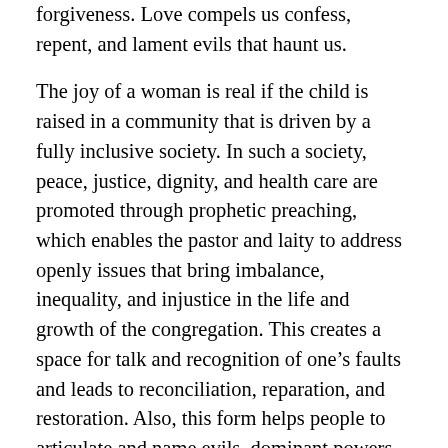forgiveness. Love compels us confess, repent, and lament evils that haunt us.
The joy of a woman is real if the child is raised in a community that is driven by a fully inclusive society. In such a society, peace, justice, dignity, and health care are promoted through prophetic preaching, which enables the pastor and laity to address openly issues that bring imbalance, inequality, and injustice in the life and growth of the congregation. This creates a space for talk and recognition of one’s faults and leads to reconciliation, reparation, and restoration. Also, this form helps people to articulate and name evils, dominant powers and forces, and to invite perpetrators to confess their wrongs in front of the victims—or in front of God—and promise to change for redemptive and restorative, reconciling relationship between one and God and one